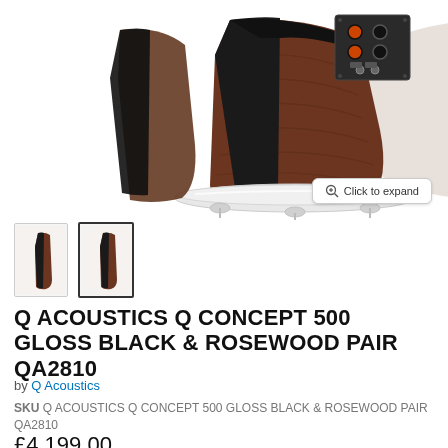[Figure (photo): Q Acoustics Q Concept 500 speaker in Gloss Black and Rosewood finish, viewed from rear-top angle, showing speaker cabinet with wood veneer sides and black connectors panel, on chrome base with feet]
[Figure (photo): Two thumbnail images of Q Acoustics Q Concept 500 speaker from front/side angle]
Q ACOUSTICS Q CONCEPT 500 GLOSS BLACK & ROSEWOOD PAIR QA2810
by Q Acoustics
SKU Q ACOUSTICS Q CONCEPT 500 GLOSS BLACK & ROSEWOOD PAIR QA2810
£4,199.00